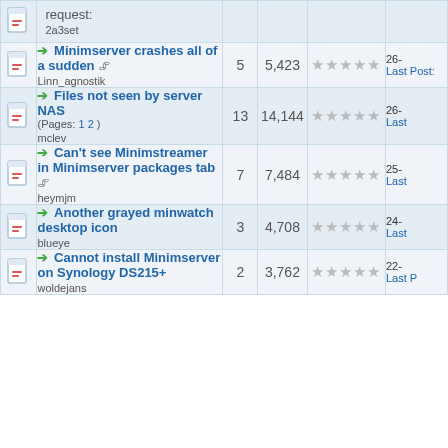|  | Topic | Replies | Views | Rating | Last Post |
| --- | --- | --- | --- | --- | --- |
| [icon] | request:
2a3set |  |  |  |  |
| [icon] | Minimserver crashes all of a sudden
Linn_agnostik | 5 | 5,423 | ☆☆☆☆☆ | 26-
Last Post: |
| [icon] | Files not seen by server NAS
(Pages: 1 2)
mclev | 13 | 14,144 | ☆☆☆☆☆ | 26-
Last |
| [icon] | Can't see Minimstreamer in Minimserver packages tab
heymjm | 7 | 7,484 | ☆☆☆☆☆ | 25-
Last |
| [icon] | Another grayed minwatch desktop icon
blueye | 3 | 4,708 | ☆☆☆☆☆ | 24-
Last |
| [icon] | Cannot install Minimserver on Synology DS215+
woldejans | 2 | 3,762 | ☆☆☆☆☆ | 22-
Last P |